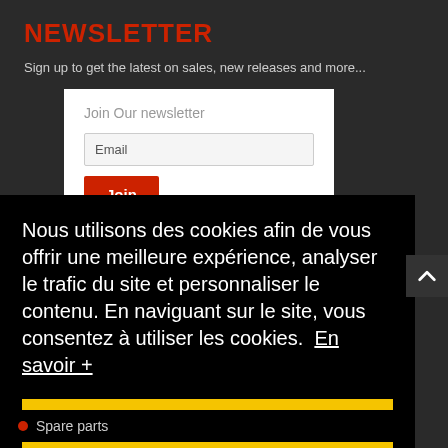NEWSLETTER
Sign up to get the latest on sales, new releases and more...
Join Our newsletter
Email
Join
Nous utilisons des cookies afin de vous offrir une meilleure expérience, analyser le trafic du site et personnaliser le contenu. En naviguant sur le site, vous consentez à utiliser les cookies. En savoir +
J'ai compris
Spare parts